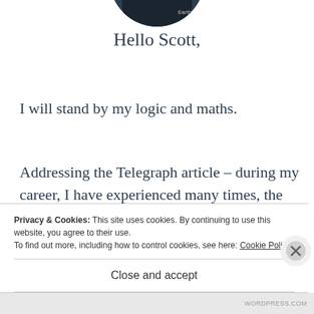[Figure (photo): Partial profile photo visible at top center, dark circular avatar cropped]
Hello Scott,
I will stand by my logic and maths.
Addressing the Telegraph article – during my career, I have experienced many times, the wider Press getting hold of the same piece of misinformation and spreading it like “Chinese Whispers” (no pun intended).
Privacy & Cookies: This site uses cookies. By continuing to use this website, you agree to their use.
To find out more, including how to control cookies, see here: Cookie Policy
Close and accept